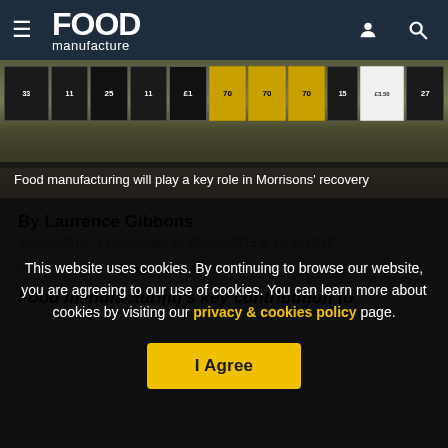Food manufacture
[Figure (photo): Shelf with price tags in a Morrisons supermarket, showing various price labels]
Food manufacturing will play a key role in Morrisons' recovery
By Laurence Gibbons
23-Nov-2015 - Last updated on 23-Nov-2015 at 15:43 GMT
RELATED TAGS: Management, Morrisons
Food manufacturing's key contribution to
This website uses cookies. By continuing to browse our website, you are agreeing to our use of cookies. You can learn more about cookies by visiting our privacy & cookies policy page.
I Agree